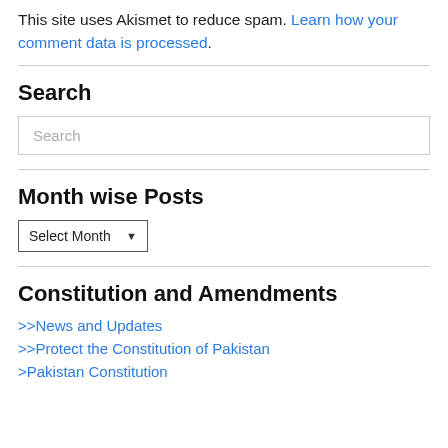This site uses Akismet to reduce spam. Learn how your comment data is processed.
Search
Search (input box placeholder)
Month wise Posts
Select Month (dropdown)
Constitution and Amendments
>>News and Updates
>>Protect the Constitution of Pakistan
>Pakistan Constitution